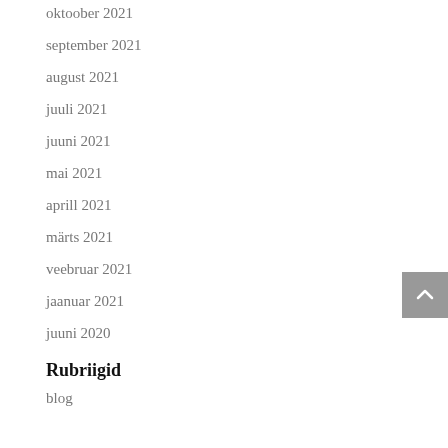oktoober 2021
september 2021
august 2021
juuli 2021
juuni 2021
mai 2021
aprill 2021
märts 2021
veebruar 2021
jaanuar 2021
juuni 2020
Rubriigid
blog